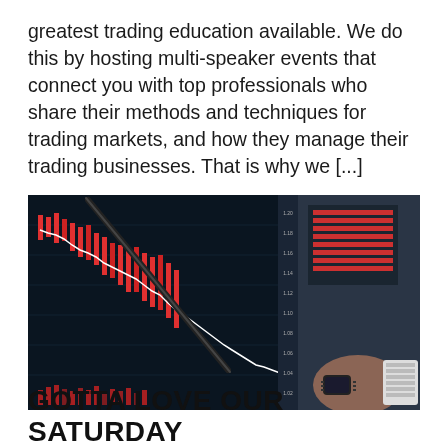greatest trading education available. We do this by hosting multi-speaker events that connect you with top professionals who share their methods and techniques for trading markets, and how they manage their trading businesses. That is why we [...]
[Figure (photo): A person pointing at a trading chart on a large monitor screen showing candlestick charts with red and white price action and a downward trend, with additional trading monitors visible in the background.]
GOTTA LOVE OUR SATURDAY